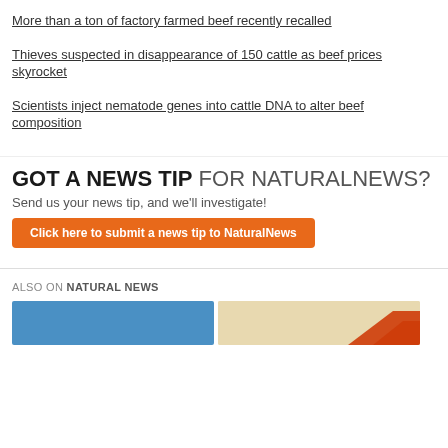More than a ton of factory farmed beef recently recalled
Thieves suspected in disappearance of 150 cattle as beef prices skyrocket
Scientists inject nematode genes into cattle DNA to alter beef composition
[Figure (infographic): GOT A NEWS TIP FOR NATURALNEWS? banner with orange submit button saying 'Click here to submit a news tip to NaturalNews']
ALSO ON NATURAL NEWS
[Figure (photo): Two thumbnail images side by side: left is blue (photo), right is tan/cream (illustration with red triangle/house shape)]